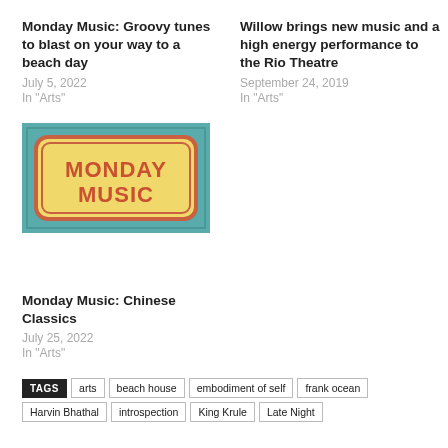Monday Music: Groovy tunes to blast on your way to a beach day
July 5, 2022
In "Arts"
Willow brings new music and a high energy performance to the Rio Theatre
September 24, 2019
In "Arts"
[Figure (illustration): Monday Music logo: teal background with a yellow rounded rectangle containing the text MONDAY MUSIC in bold red letters with a retro style]
Monday Music: Chinese Classics
July 25, 2022
In "Arts"
TAGS  arts  beach house  embodiment of self  frank ocean  Harvin Bhathal  introspection  King Krule  Late Night